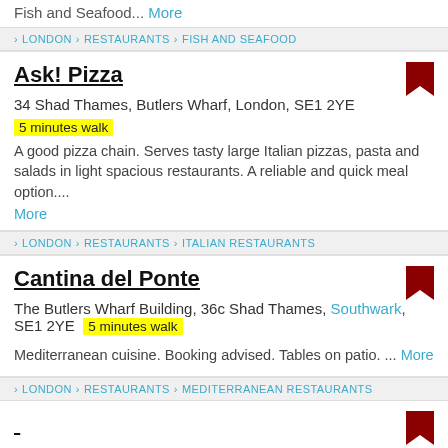Fish and Seafood... More
› LONDON › RESTAURANTS › FISH AND SEAFOOD
Ask! Pizza
34 Shad Thames, Butlers Wharf, London, SE1 2YE
5 minutes walk
A good pizza chain. Serves tasty large Italian pizzas, pasta and salads in light spacious restaurants. A reliable and quick meal option.... More
› LONDON › RESTAURANTS › ITALIAN RESTAURANTS
Cantina del Ponte
The Butlers Wharf Building, 36c Shad Thames, Southwark, SE1 2YE  5 minutes walk
Mediterranean cuisine. Booking advised. Tables on patio. ... More
› LONDON › RESTAURANTS › MEDITERRANEAN RESTAURANTS